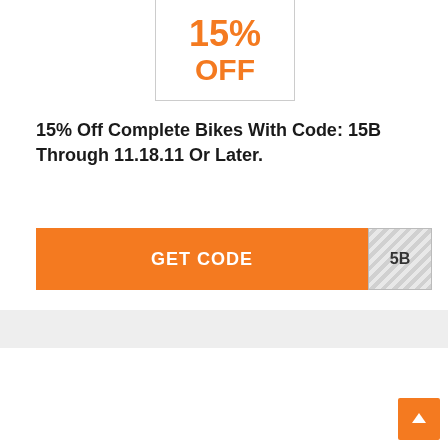[Figure (other): Coupon box showing 15% OFF in orange text, partially cropped at top]
15% Off Complete Bikes With Code: 15B Through 11.18.11 Or Later.
[Figure (other): Orange GET CODE button with striped code reveal panel showing '5B']
[Figure (other): Bottom section showing another coupon card partially visible, with back-to-top orange arrow button in bottom right corner]